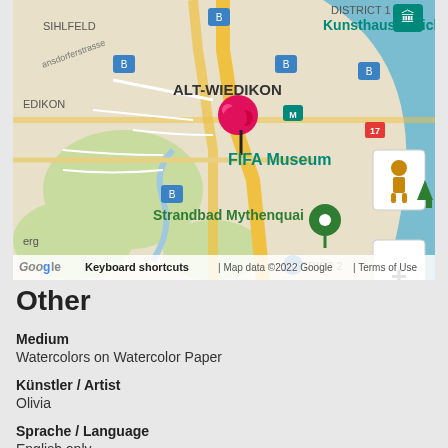[Figure (map): Google Maps view showing Alt-Wiedikon district in Zürich, Switzerland. Visible landmarks include FIFA Museum with a pink map pin, Strandbad Mythenquai with a green map pin, Kunsthaus Zürich label in the upper right, SIHLFELD and EDIKON labels on the left, a lake on the right side, yellow roads, transit icons, zoom controls (+/-) and a street view human icon on the right side. Map data ©2022 Google. District 1 and District 2 labels visible. Keyboard shortcuts and Terms of Use at the bottom.]
Other
Medium
Watercolors on Watercolor Paper
Künstler / Artist
Olivia
Sprache / Language
English only